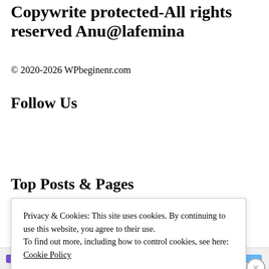Copywrite protected-All rights reserved Anu@lafemina
© 2020-2026 WPbeginenr.com
Follow Us
Top Posts & Pages
Privacy & Cookies: This site uses cookies. By continuing to use this website, you agree to their use.
To find out more, including how to control cookies, see here: Cookie Policy
Close and accept